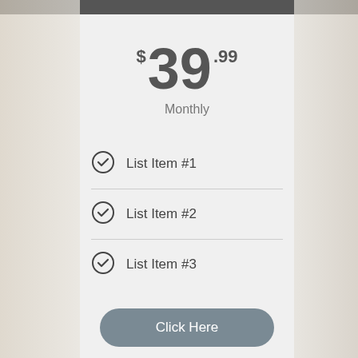$39.99 Monthly
List Item #1
List Item #2
List Item #3
Click Here
This is text element